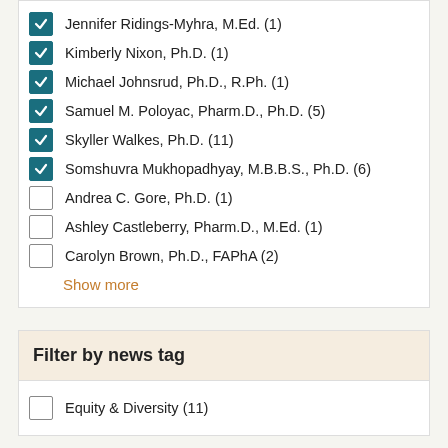Jennifer Ridings-Myhra, M.Ed. (1)
Kimberly Nixon, Ph.D. (1)
Michael Johnsrud, Ph.D., R.Ph. (1)
Samuel M. Poloyac, Pharm.D., Ph.D. (5)
Skyller Walkes, Ph.D. (11)
Somshuvra Mukhopadhyay, M.B.B.S., Ph.D. (6)
Andrea C. Gore, Ph.D. (1)
Ashley Castleberry, Pharm.D., M.Ed. (1)
Carolyn Brown, Ph.D., FAPhA (2)
Show more
Filter by news tag
Equity & Diversity (11)